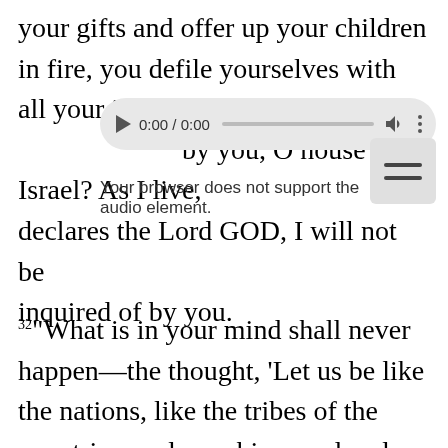your gifts and offer up your children in fire, you defile yourselves with all your idols to this day. And shall I be inquired of by you, O house of Israel? As I live, declares the Lord GOD, I will not be inquired of by you.
[Figure (screenshot): An audio player UI element showing 0:00 / 0:00 with play button, progress bar, volume icon, and menu dots. Below it a hamburger menu button. Overlaid text reads: 'Your browser does not support the audio element.']
32 "What is in your mind shall never happen—the thought, 'Let us be like the nations, like the tribes of the countries, and worship wood and stone.'